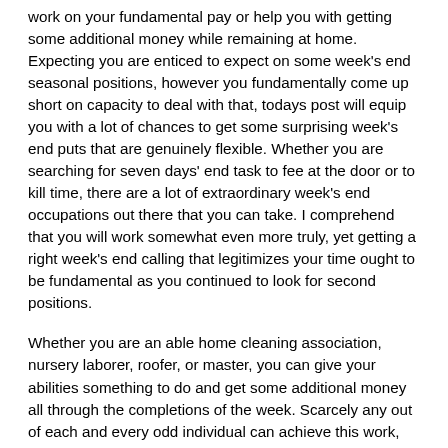work on your fundamental pay or help you with getting some additional money while remaining at home. Expecting you are enticed to expect on some week's end seasonal positions, however you fundamentally come up short on capacity to deal with that, todays post will equip you with a lot of chances to get some surprising week's end puts that are genuinely flexible. Whether you are searching for seven days' end task to fee at the door or to kill time, there are a lot of extraordinary week's end occupations out there that you can take. I comprehend that you will work somewhat even more truly, yet getting a right week's end calling that legitimizes your time ought to be fundamental as you continued to look for second positions.
Whether you are an able home cleaning association, nursery laborer, roofer, or master, you can give your abilities something to do and get some additional money all through the completions of the week. Scarcely any out of each and every odd individual can achieve this work, since individuals who worth cleaning and have a skill for keeping their homes worked with and especially oversaw will decide to take this infrequent occupation at completions of the week. You could correspondingly be an educator, in the event that you have surprising information on a specific subject like math, science, English, and so forth. This could be the best occupation out to...